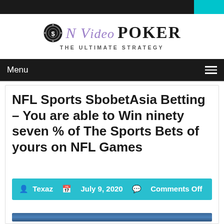[Figure (logo): N Video Poker - The Ultimate Strategy logo with poker chip icon]
Menu
NFL Sports SbobetAsia Betting – You are able to Win ninety seven % of The Sports Bets of yours on NFL Games
Texaz   July 9, 2020   Comments Off
[Figure (photo): Soccer player holding a ball, in blue uniform]